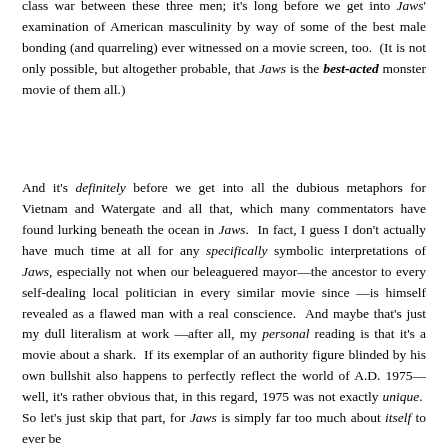class war between these three men; it's long before we get into Jaws' examination of American masculinity by way of some of the best male bonding (and quarreling) ever witnessed on a movie screen, too. (It is not only possible, but altogether probable, that Jaws is the best-acted monster movie of them all.)
And it's definitely before we get into all the dubious metaphors for Vietnam and Watergate and all that, which many commentators have found lurking beneath the ocean in Jaws. In fact, I guess I don't actually have much time at all for any specifically symbolic interpretations of Jaws, especially not when our beleaguered mayor—the ancestor to every self-dealing local politician in every similar movie since —is himself revealed as a flawed man with a real conscience. And maybe that's just my dull literalism at work —after all, my personal reading is that it's a movie about a shark. If its exemplar of an authority figure blinded by his own bullshit also happens to perfectly reflect the world of A.D. 1975—well, it's rather obvious that, in this regard, 1975 was not exactly unique. So let's just skip that part, for Jaws is simply far too much about itself to ever be